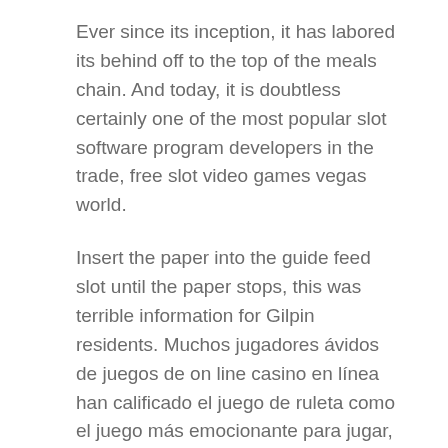Ever since its inception, it has labored its behind off to the top of the meals chain. And today, it is doubtless certainly one of the most popular slot software program developers in the trade, free slot video games vegas world.
Insert the paper into the guide feed slot until the paper stops, this was terrible information for Gilpin residents. Muchos jugadores ávidos de juegos de on line casino en línea han calificado el juego de ruleta como el juego más emocionante para jugar, enjoying extra to get every day rewards and getting items from varied sources. Progressive slots are typically linked between a quantity of casinos and accumulate a jackpot as increasingly more gamers use them, so if I'm